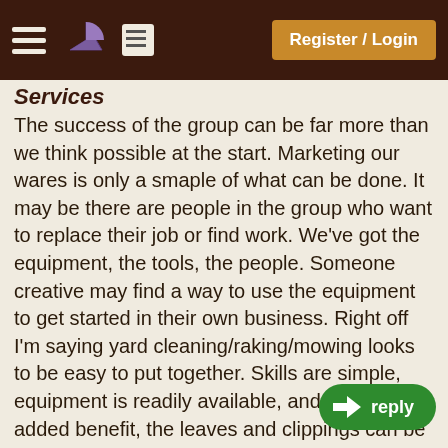Register / Login
Services
The success of the group can be far more than we think possible at the start. Marketing our wares is only a smaple of what can be done. It may be there are people in the group who want to replace their job or find work. We've got the equipment, the tools, the people. Someone creative may find a way to use the equipment to get started in their own business. Right off I'm saying yard cleaning/raking/mowing looks to be easy to put together. Skills are simple, equipment is readily available, and as an added benefit, the leaves and clippings can be brought back to the farm to be used making compost, saving the entrepreneur dump fees. Extra help is a phone call away. Customer sales calls begin with the 200 owners. We would not be forced into supporting such an endeavor. While we can surely help the business get started, dedicated equipment would need to be purchased. If this aspiring bu wants to branch out to, say, tree cutting, we probably have equipment to help out. A mower dies suddenly, we